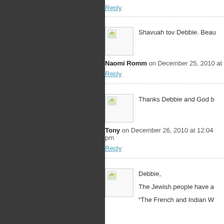Reply
[Figure (other): Avatar image placeholder with small landscape icon]
Shavuah tov Debbie. Beau
Naomi Romm on December 25, 2010 at
Reply
[Figure (other): Avatar image placeholder with small landscape icon]
Thanks Debbie and God b
Tony on December 26, 2010 at 12:04 pm
Reply
[Figure (other): Avatar image placeholder with small landscape icon]
Debbie,
The Jewish people have a
“The French and Indian W